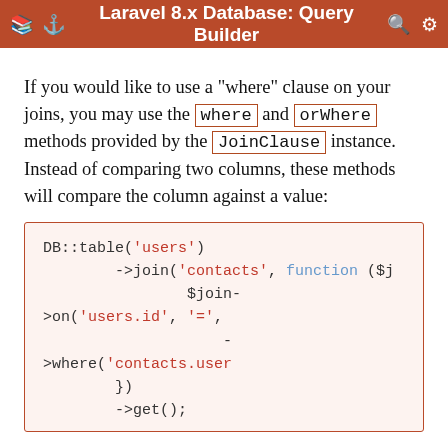Laravel 8.x Database: Query Builder
If you would like to use a "where" clause on your joins, you may use the `where` and `orWhere` methods provided by the `JoinClause` instance. Instead of comparing two columns, these methods will compare the column against a value:
[Figure (screenshot): PHP code block showing DB::table('users')->join('contacts', function ($j) { $join->on('users.id', '=', )->where('contacts.user... })->get();]
Subquery Joins